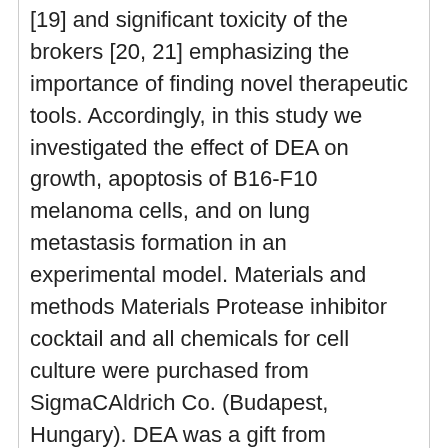[19] and significant toxicity of the brokers [20, 21] emphasizing the importance of finding novel therapeutic tools. Accordingly, in this study we investigated the effect of DEA on growth, apoptosis of B16-F10 melanoma cells, and on lung metastasis formation in an experimental model. Materials and methods Materials Protease inhibitor cocktail and all chemicals for cell culture were purchased from SigmaCAldrich Co. (Budapest, Hungary). DEA was a gift from Professor Andras Varro (Department of Pharmacology and Pharmacotherapy, University or college of Szeged, Szeged, Hungary). The following primary antibodies were used: anti-Bcl-2, anti-Bax, anti-caspase 3 (clone H-277), anti-poly(ADP-ribose) polymerase 1 (PARP-1), anti-